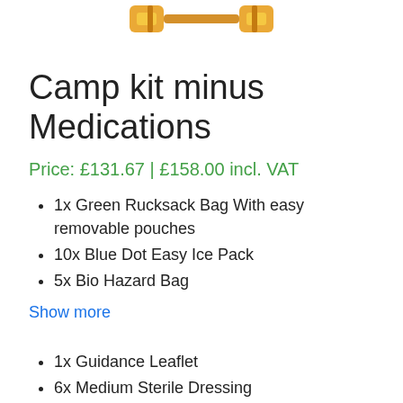[Figure (photo): Partial image of gold/orange buckle or clasp hardware at the top of the page]
Camp kit minus Medications
Price: £131.67 | £158.00 incl. VAT
1x Green Rucksack Bag With easy removable pouches
10x Blue Dot Easy Ice Pack
5x Bio Hazard Bag
Show more
1x Guidance Leaflet
6x Medium Sterile Dressing